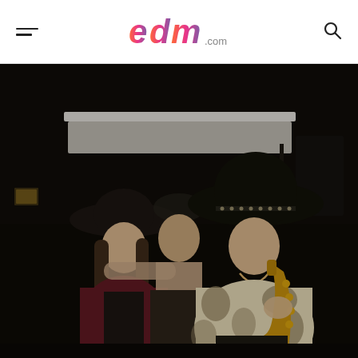edm.com website header with hamburger menu, EDM.com logo, and search icon
[Figure (photo): Three men sitting together outdoors at night, likely backstage at a music festival. Left man wears a dark cowboy hat and burgundy jacket. Center man leans casually with tattoos visible. Right man wears a large black cowboy hat and plays a saxophone, wearing a tie-dye shirt. Background shows dark night sky and festival equipment.]